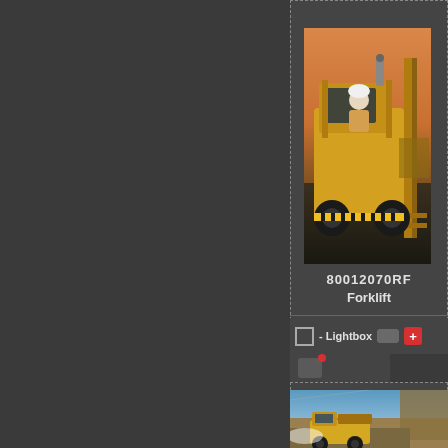[Figure (photo): Screenshot of image search results UI showing a forklift photo card with ID 80012070RF and label 'Forklift', with Lightbox and cart controls, and a partial second card below showing a mining open-pit truck photo]
80012070RF
Forklift
- Lightbox